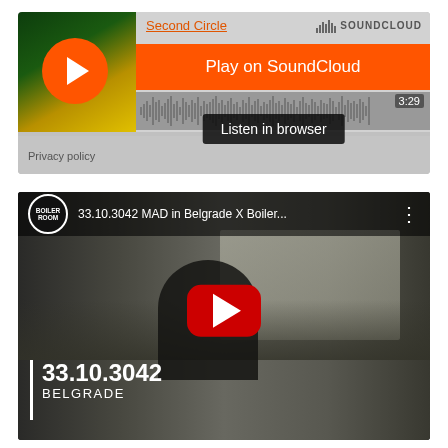[Figure (screenshot): SoundCloud embedded player showing 'Second Circle' track with orange 'Play on SoundCloud' button and 'Listen in browser' tooltip. Duration shown as 3:29. Privacy policy link at bottom left.]
[Figure (screenshot): YouTube embedded video player showing '33.10.3042 MAD in Belgrade X Boiler...' from Boiler Room channel. Shows outdoor festival scene with DJ and crowd. Large red YouTube play button overlay. Bottom left shows '33.10.3042 BELGRADE' text with white vertical bar.]